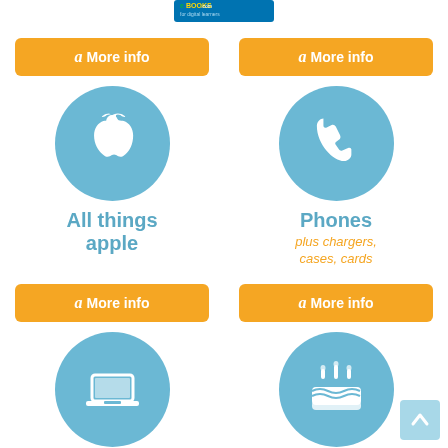[Figure (logo): eBooks.com logo at top center]
[Figure (infographic): Two-column grid of Amazon product category tiles with orange 'a More info' buttons, blue circular icons, and category labels: 'All things apple' (Apple logo icon), 'Phones plus chargers, cases, cards' (phone icon), 'Laptops' (laptop icon), 'Munchies' (birthday cake/food icon)]